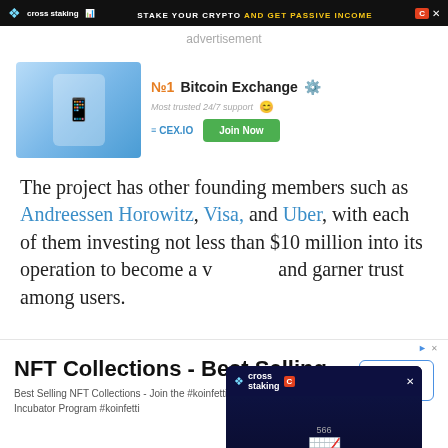[Figure (screenshot): Top banner advertisement for Cross Staking with text STAKE YOUR CRYPTO AND GET PASSIVE INCOME and CEX badge]
advertisement
[Figure (screenshot): CEX.IO No.1 Bitcoin Exchange advertisement banner with Join Now button]
The project has other founding members such as Andreessen Horowitz, Visa, and Uber, with each of them investing not less than $10 million into its operation to become a [validator] and garner trust among users.
[Figure (screenshot): Cross Staking floating popup overlay with STAKE YOUR CRYPTO text]
ery one of its members has [...]
[Figure (screenshot): Bottom NFT Collections - Best Selling advertisement with Open button]